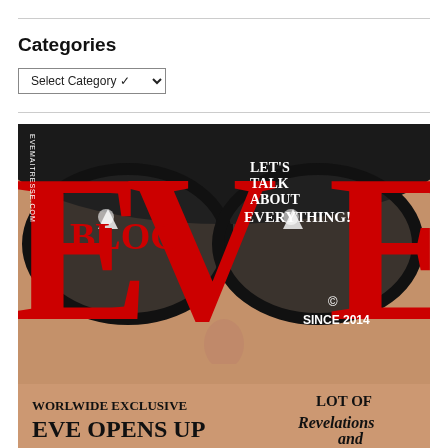Categories
Select Category
[Figure (photo): Magazine cover of EVE Blog showing a close-up of a woman's face wearing oversized sunglasses. Large red letters spell 'EVE' with 'BLOG' in between. Text overlays include 'LET'S TALK ABOUT EVERYTHING!', 'SINCE 2014', 'WORLWIDE EXCLUSIVE', 'EVE OPENS UP', 'LOT OF Revelations and', 'EVEMAITRESSE.COM'.]